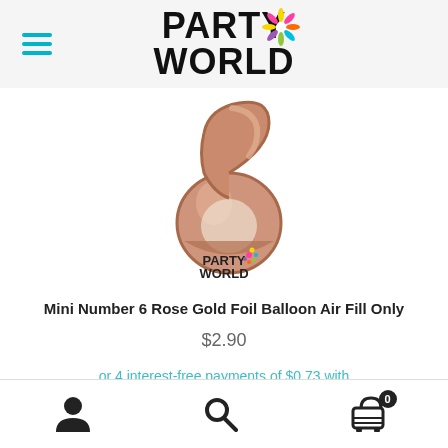[Figure (logo): Party World logo with colorful confetti splash, bold black text PARTY WORLD]
[Figure (photo): Mini Number 6 Rose Gold Foil Balloon product image with Party World watermark]
Mini Number 6 Rose Gold Foil Balloon Air Fill Only
$2.90
or 4 interest-free payments of $0.73 with
[Figure (logo): Afterpay button/logo in teal rounded pill]
[Figure (infographic): Bottom navigation bar with account (person icon), search (magnifying glass icon), and shopping cart icon with 0 badge]